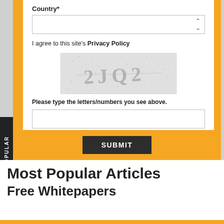Country*
I agree to this site's Privacy Policy
[Figure (other): CAPTCHA image showing distorted text '2JQ2' on a noisy/speckled background]
Please type the letters/numbers you see above.
SUBMIT
Most Popular Articles
Free Whitepapers